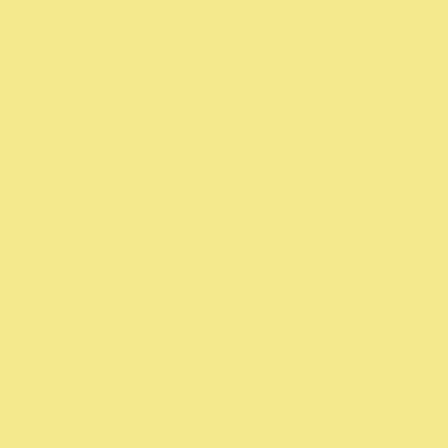currently the best cameras for low light photojournalism and reportage. The last week correctly, the Sony A900 ( for reproducing fine detail of static s lens). (I'd be very interested in heari merits of the K20D & A900.)
But why should we expect a single c situation? We don't expect to use the evening landscapes, product shots, a the same digital sensor?
I currently have a Fuji S3, which I us range (but not HDR) work, because sensor is designed for. I'm about to g landscapes. If I did much low light w seriously. Horses for courses.
And, as with all tools, it's how you u
Posted by: Alex Monro | Monday, 01 December 2008 a